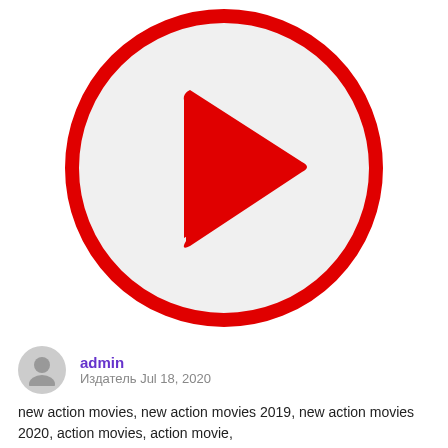[Figure (illustration): Red circle play button icon on white/light gray background. A large red circle outline with a red filled right-pointing triangle (play arrow) in the center.]
admin
Издатель Jul 18, 2020
new action movies, new action movies 2019, new action movies 2020, action movies, action movie,
best action movies, action movies 2019, best action movie, action movie 2019,
action movies 2019 full movie, best action movies 2019, sci fi